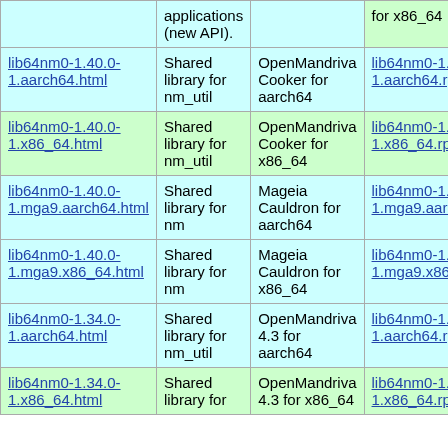| Package | Description | Distribution | Download |
| --- | --- | --- | --- |
| [partial top row] | applications (new API). |  | for x86_64 |
| lib64nm0-1.40.0-1.aarch64.html | Shared library for nm_util | OpenMandriva Cooker for aarch64 | lib64nm0-1.40.0-1.aarch64.rpm |
| lib64nm0-1.40.0-1.x86_64.html | Shared library for nm_util | OpenMandriva Cooker for x86_64 | lib64nm0-1.40.0-1.x86_64.rpm |
| lib64nm0-1.40.0-1.mga9.aarch64.html | Shared library for nm | Mageia Cauldron for aarch64 | lib64nm0-1.40.0-1.mga9.aarch64.rpm |
| lib64nm0-1.40.0-1.mga9.x86_64.html | Shared library for nm | Mageia Cauldron for x86_64 | lib64nm0-1.40.0-1.mga9.x86_64.rpm |
| lib64nm0-1.34.0-1.aarch64.html | Shared library for nm_util | OpenMandriva 4.3 for aarch64 | lib64nm0-1.34.0-1.aarch64.rpm |
| lib64nm0-1.34.0-1.x86_64.html | Shared library for | OpenMandriva 4.3 for x86_64 | lib64nm0-1.34.0-1.x86_64.rpm |